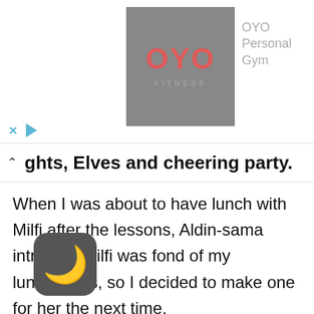[Figure (logo): OYO Fitness / OYO Personal Gym advertisement banner with logo on grey background and close/play controls]
ghts, Elves and cheering party.
When I was about to have lunch with Milfi after the lessons, Aldin-sama intruded. Milfi was fond of my lunchboxes, so I decided to make one for her the next time.
“[...], there’s practice for the athletic meeting. I would like you to participate